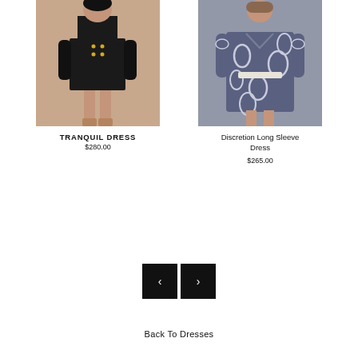[Figure (photo): Woman wearing a black mini dress with long sleeves and gold buttons, standing on a beige/pink background]
[Figure (photo): Woman wearing a navy blue and white patterned long sleeve wrap dress]
TRANQUIL DRESS
$280.00
Discretion Long Sleeve Dress
$265.00
[Figure (other): Navigation arrows: left arrow button and right arrow button]
Back To Dresses